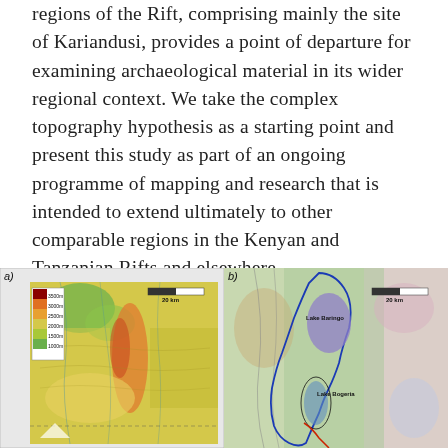regions of the Rift, comprising mainly the site of Kariandusi, provides a point of departure for examining archaeological material in its wider regional context. We take the complex topography hypothesis as a starting point and present this study as part of an ongoing programme of mapping and research that is intended to extend ultimately to other comparable regions in the Kenyan and Tanzanian Rifts and elsewhere.
[Figure (map): Panel a): Digital elevation model (DEM) topographic map showing elevation in the Rift region with a color scale legend (1000m–3500m) and a 20 km scale bar.]
[Figure (map): Panel b): Geological or satellite map of the same region showing Lake Baringo and Lake Bogoria with blue outline boundaries, and various geological/land-cover colors. 20 km scale bar shown.]